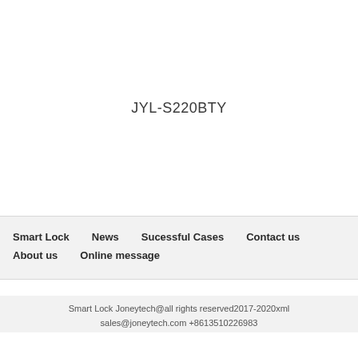JYL-S220BTY
Smart Lock  News  Sucessful Cases  Contact us  About us  Online message
Smart Lock Joneytech@all rights reserved2017-2020xml
sales@joneytech.com +8613510226983